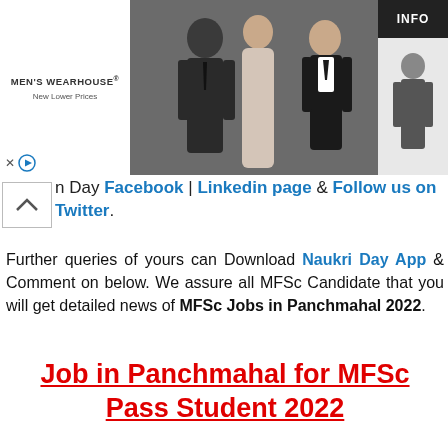[Figure (screenshot): Men's Wearhouse advertisement banner showing two people in formal wear and a man in a tuxedo, with INFO button and Men's Wearhouse logo with 'New Lower Prices' text]
n Day Facebook | Linkedin page & Follow us on Twitter.
Further queries of yours can Download Naukri Day App & Comment on below. We assure all MFSc Candidate that you will get detailed news of MFSc Jobs in Panchmahal 2022.
Job in Panchmahal for MFSc Pass Student 2022